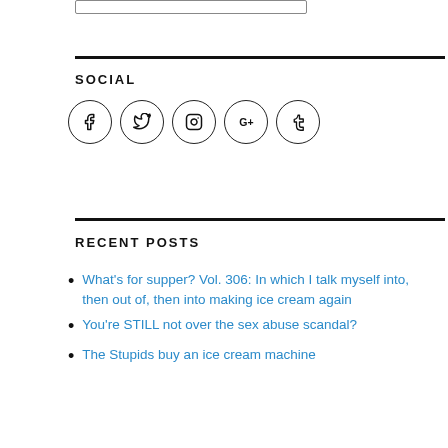SOCIAL
[Figure (illustration): Five social media icons in circles: Facebook, Twitter, Instagram, Google+, Tumblr]
RECENT POSTS
What’s for supper? Vol. 306: In which I talk myself into, then out of, then into making ice cream again
You’re STILL not over the sex abuse scandal?
The Stupids buy an ice cream machine